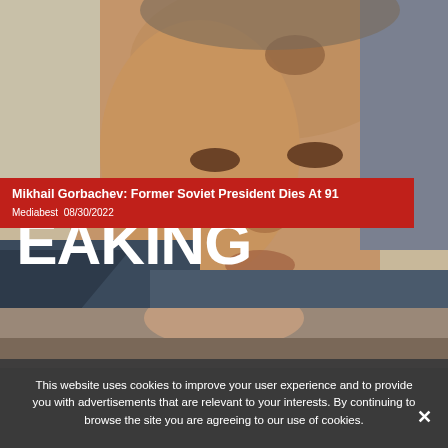[Figure (photo): Close-up photograph of Mikhail Gorbachev, elderly man with distinctive birthmark on forehead, wearing a suit, with blurred background]
Mikhail Gorbachev: Former Soviet President Dies At 91
Mediabest 08/30/2022
[Figure (photo): Partial view of a second news photo, showing a person, cropped at bottom of page]
This website uses cookies to improve your user experience and to provide you with advertisements that are relevant to your interests. By continuing to browse the site you are agreeing to our use of cookies.